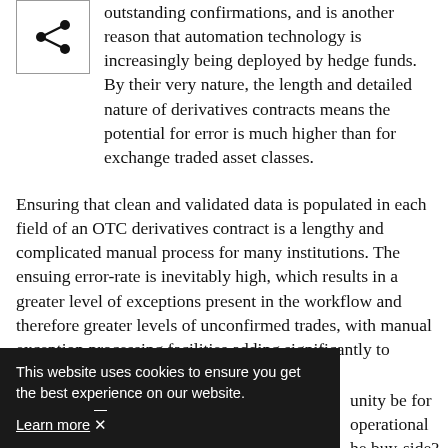[Figure (other): Share icon button — three dots connected by lines in a share/network symbol, inside a square border]
outstanding confirmations, and is another reason that automation technology is increasingly being deployed by hedge funds. By their very nature, the length and detailed nature of derivatives contracts means the potential for error is much higher than for exchange traded asset classes.
Ensuring that clean and validated data is populated in each field of an OTC derivatives contract is a lengthy and complicated manual process for many institutions. The ensuing error-rate is inevitably high, which results in a greater level of exceptions present in the workflow and therefore greater levels of unconfirmed trades, with manual exception processing facilities adding significantly to
unity be for operational he buy-side? It’s true that historically-speaking the sell-
This website uses cookies to ensure you get the best experience on our website. Learn more